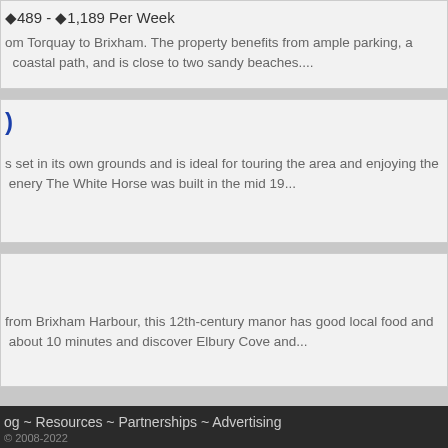£489 - £1,189 Per Week
om Torquay to Brixham. The property benefits from ample parking, a coastal path, and is close to two sandy beaches....
)
s set in its own grounds and is ideal for touring the area and enjoying the enery The White Horse was built in the mid 19...
from Brixham Harbour, this 12th-century manor has good local food and about 10 minutes and discover Elbury Cove and...
og ~ Resources ~ Partnerships ~ Advertising
© 2008-2022